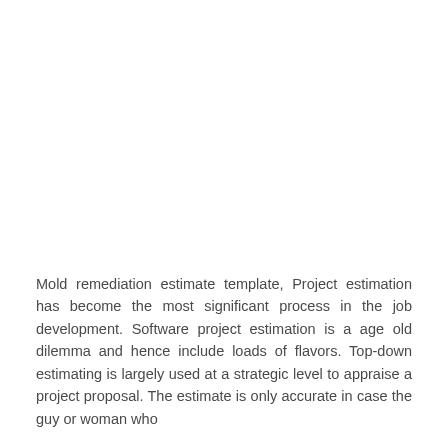Mold remediation estimate template, Project estimation has become the most significant process in the job development. Software project estimation is a age old dilemma and hence include loads of flavors. Top-down estimating is largely used at a strategic level to appraise a project proposal. The estimate is only accurate in case the guy or woman who